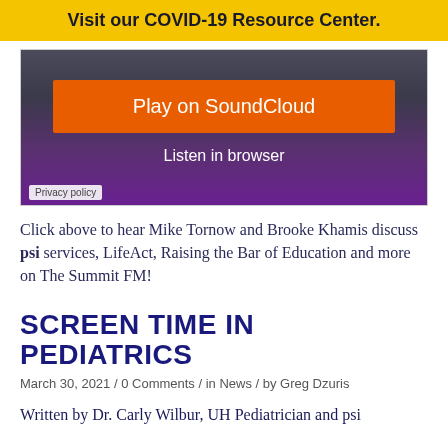Visit our COVID-19 Resource Center.
[Figure (screenshot): SoundCloud embedded audio player widget with orange 'Play on SoundCloud' button and 'Listen in browser' text, dark background with waveform visualization, and Privacy policy link]
Click above to hear Mike Tornow and Brooke Khamis discuss psi services, LifeAct, Raising the Bar of Education and more on The Summit FM!
SCREEN TIME IN PEDIATRICS
March 30, 2021 / 0 Comments / in News / by Greg Dzuris
Written by Dr. Carly Wilbur, UH Pediatrician and psi